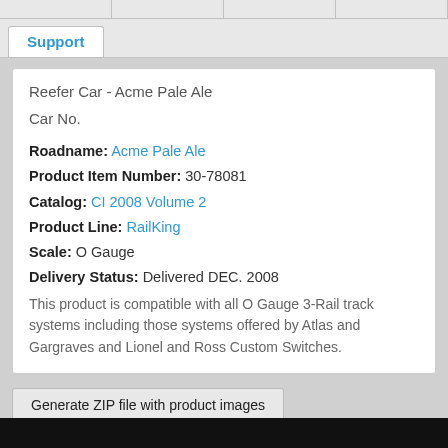Support
Reefer Car - Acme Pale Ale
Car No.
Roadname: Acme Pale Ale
Product Item Number: 30-78081
Catalog: CI 2008 Volume 2
Product Line: RailKing
Scale: O Gauge
Delivery Status: Delivered DEC. 2008
This product is compatible with all O Gauge 3-Rail track systems including those systems offered by Atlas and Gargraves and Lionel and Ross Custom Switches.
Generate ZIP file with product images